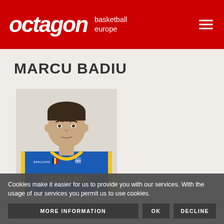octagon basketball europe
MARCU BADIU
[Figure (photo): Player photo of Marcu Badiu wearing a blue Romania national basketball team jersey with yellow lettering and trim, SPALDING logo visible, FIBA badge on chest.]
Cookies make it easier for us to provide you with our services. With the usage of our services you permit us to use cookies.